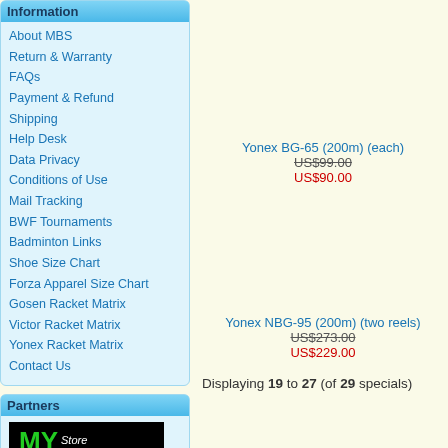Information
About MBS
Return & Warranty
FAQs
Payment & Refund
Shipping
Help Desk
Data Privacy
Conditions of Use
Mail Tracking
BWF Tournaments
Badminton Links
Shoe Size Chart
Forza Apparel Size Chart
Gosen Racket Matrix
Victor Racket Matrix
Yonex Racket Matrix
Contact Us
Yonex BG-65 (200m) (each)
US$99.00
US$90.00
Yonex NBG-95 (200m) (two reels)
US$273.00
US$229.00
Displaying 19 to 27 (of 29 specials)
Partners
[Figure (logo): MY Store Limited logo - black background with green MY text and white Store Limited text]
[Figure (logo): MY Badminton Planet logo - black background with green MY text and yellow Badminton Planet text]